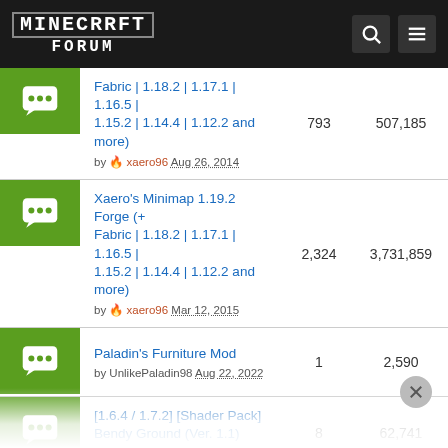Minecraft Forum
Fabric | 1.18.2 | 1.17.1 | 1.16.5 | 1.15.2 | 1.14.4 | 1.12.2 and more) by xaero96 Aug 26, 2014 — 793 replies, 507,185 views
Xaero's Minimap 1.19.2 Forge (+ Fabric | 1.18.2 | 1.17.1 | 1.16.5 | 1.15.2 | 1.14.4 | 1.12.2 and more) by xaero96 Mar 12, 2015 — 2,324 replies, 3,731,859 views
Paladin's Furniture Mod by UnlikePaladin98 Aug 22, 2022 — 1 reply, 2,590 views
[1.6.4 / 1.7.2] [Shader Pack] Bendy Ground (Ver. 1.1) by Beed28 Jan 2, 2014 — 8 replies, 62,741 views
[1.16.5-1.19] [Forge/Fabric] EyeMod - A phone in minecraft [EyeOS 2.0] by Podloot Feb 16, 2022 — 2 replies, 2,741 views
[Shaders] AstraLex Shaders V59.1 [01.09.22] [EN-FR] by LexBoosT Aug 21, 2020 — 159 replies, 82,105 views
Awesome Dungeon - from 1.16.5 to 1.19.* — 10 replies, 7,885 views